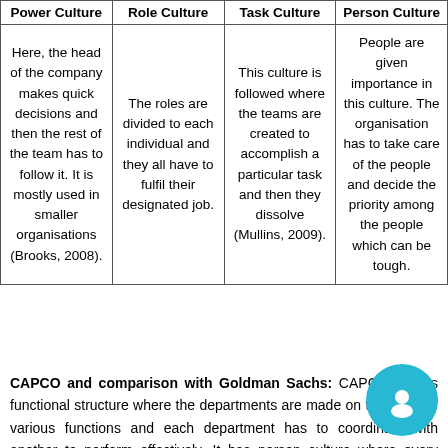| Power Culture | Role Culture | Task Culture | Person Culture |
| --- | --- | --- | --- |
| Here, the head of the company makes quick decisions and then the rest of the team has to follow it. It is mostly used in smaller organisations (Brooks, 2008). | The roles are divided to each individual and they all have to fulfil their designated job. | This culture is followed where the teams are created to accomplish a particular task and then they dissolve (Mullins, 2009). | People are given importance in this culture. The organisation has to take care of the people and decide the priority among the people which can be tough. |
CAPCO and comparison with Goldman Sachs: CAPCO follows functional structure where the departments are made on the basis of various functions and each department has to coordinate with another to perform effectively. It has person culture where every individual is been given importance in the company and are